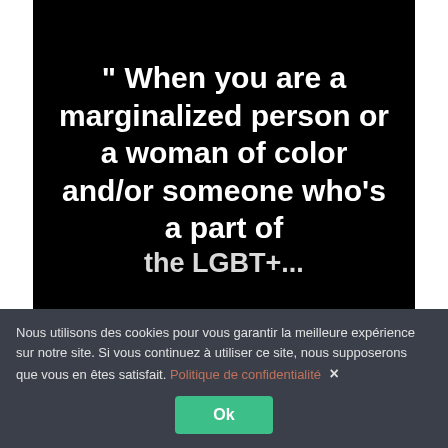[Figure (illustration): Black background image with large white bold text reading: " When you are a marginalized person or a woman of color and/or someone who's a part of [the LGBTQ+ community]...]
Nous utilisons des cookies pour vous garantir la meilleure expérience sur notre site. Si vous continuez à utiliser ce site, nous supposerons que vous en êtes satisfait. Politique de confidentialité ×
Ok